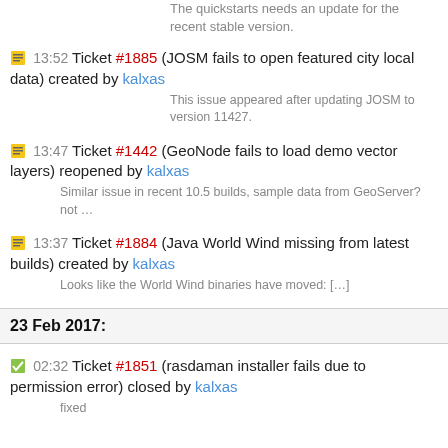The quickstarts needs an update for the recent stable version.
13:52 Ticket #1885 (JOSM fails to open featured city local data) created by kalxas
This issue appeared after updating JOSM to version 11427.
13:47 Ticket #1442 (GeoNode fails to load demo vector layers) reopened by kalxas
Similar issue in recent 10.5 builds, sample data from GeoServer? not …
13:37 Ticket #1884 (Java World Wind missing from latest builds) created by kalxas
Looks like the World Wind binaries have moved: […]
23 Feb 2017:
02:32 Ticket #1851 (rasdaman installer fails due to permission error) closed by kalxas
fixed